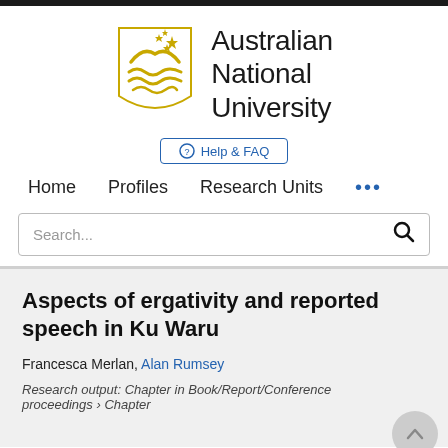[Figure (logo): Australian National University logo with shield (gold mountains and waves, stars) and text 'Australian National University']
⊕ Help & FAQ
Home   Profiles   Research Units   •••
Search...
Aspects of ergativity and reported speech in Ku Waru
Francesca Merlan, Alan Rumsey
Research output: Chapter in Book/Report/Conference proceedings › Chapter